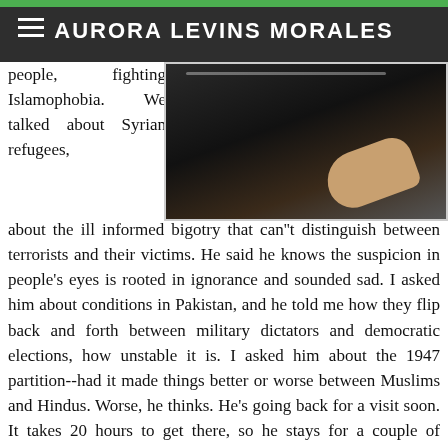AURORA LEVINS MORALES
[Figure (photo): Dark photograph showing a hand in low light, partial view of a person]
his back the backs of his people, fighting Islamophobia. We talked about Syrian refugees, about the ill informed bigotry that can''t distinguish between terrorists and their victims. He said he knows the suspicion in people's eyes is rooted in ignorance and sounded sad. I asked him about conditions in Pakistan, and he told me how they flip back and forth between military dictators and democratic elections, how unstable it is. I asked him about the 1947 partition--had it made things better or worse between Muslims and Hindus. Worse, he thinks. He's going back for a visit soon. It takes 20 hours to get there, so he stays for a couple of months when he goes. We were getting close to my destination, so I reminded him that some of us are actively defending